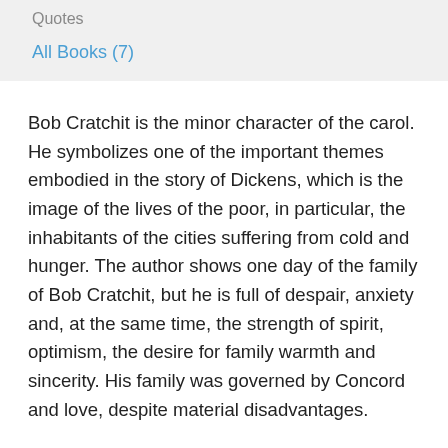Quotes
All Books (7)
Bob Cratchit is the minor character of the carol. He symbolizes one of the important themes embodied in the story of Dickens, which is the image of the lives of the poor, in particular, the inhabitants of the cities suffering from cold and hunger. The author shows one day of the family of Bob Cratchit, but he is full of despair, anxiety and, at the same time, the strength of spirit, optimism, the desire for family warmth and sincerity. His family was governed by Concord and love, despite material disadvantages.